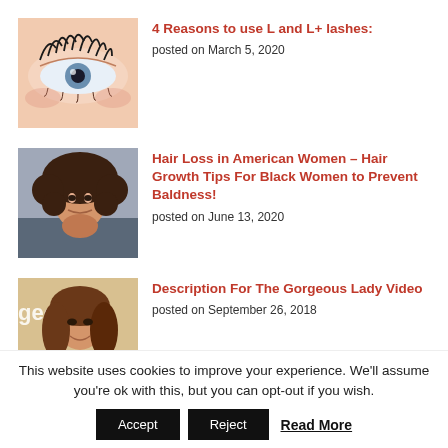[Figure (photo): Close-up of an eye with long eyelashes]
4 Reasons to use L and L+ lashes:
posted on March 5, 2020
[Figure (photo): Woman with curly hair looking alarmed, touching her hair]
Hair Loss in American Women – Hair Growth Tips For Black Women to Prevent Baldness!
posted on June 13, 2020
[Figure (photo): Attractive woman smiling, partial text 'geous' and 'LA' visible in background]
Description For The Gorgeous Lady Video
posted on September 26, 2018
This website uses cookies to improve your experience. We'll assume you're ok with this, but you can opt-out if you wish.